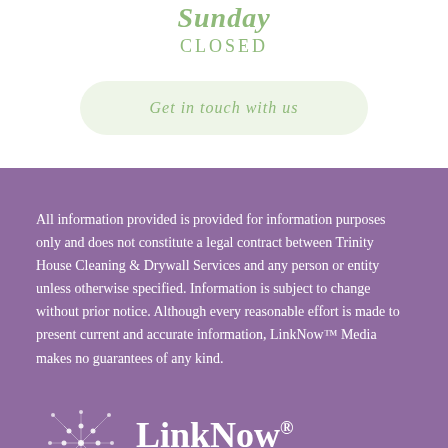Sunday
CLOSED
Get in touch with us
All information provided is provided for information purposes only and does not constitute a legal contract between Trinity House Cleaning & Drywall Services and any person or entity unless otherwise specified. Information is subject to change without prior notice. Although every reasonable effort is made to present current and accurate information, LinkNow™ Media makes no guarantees of any kind.
[Figure (logo): LinkNow Media logo with network dot graphic, company name in white bold serif text with registered trademark symbol, tagline 'THE WEB IS WAITING FOR YOU.' in small caps below a horizontal rule]